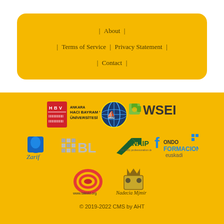| About | Terms of Service | Privacy Statement | Contact |
[Figure (logo): Ankara Hacı Bayram Veli Üniversitesi logo]
[Figure (logo): Globe organization logo]
[Figure (logo): WSEI logo with puzzle icon]
[Figure (logo): Zarif logo]
[Figure (logo): EBL logo]
[Figure (logo): ENAIP logo]
[Figure (logo): Fondo Formacion Euskadi logo]
[Figure (logo): www.takidd.org logo]
[Figure (logo): Nadecia Mjmir logo with dogs crest]
© 2019-2022 CMS by AHT